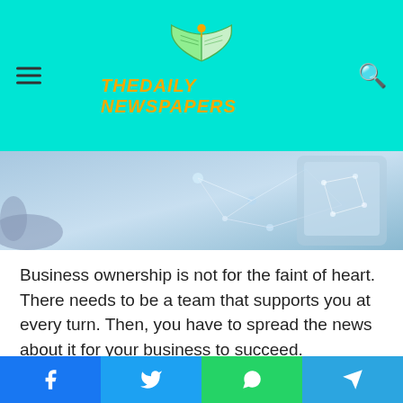THEDAILY NEWSPAPERS
[Figure (photo): Technology-themed hero image showing a digital network/tablet device with blue light network connections]
Business ownership is not for the faint of heart. There needs to be a team that supports you at every turn. Then, you have to spread the news about it for your business to succeed.
Besides engaging marketing and advertising agencies, some companies also work with public relations (PR) agencies. Technology companies that want their business to grow, for example, prefer to work with a technology PR agency.
But, what is the point of a niche-specific PR agency? In what
Facebook Twitter WhatsApp Telegram